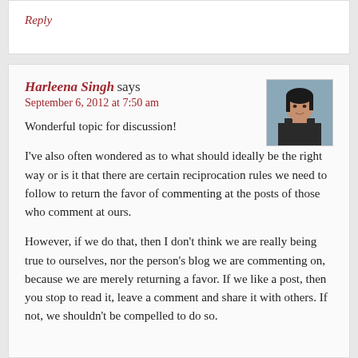Reply
Harleena Singh says
September 6, 2012 at 7:50 am
[Figure (photo): Avatar photo of Harleena Singh, a woman in a dark turtleneck, outdoor background]
Wonderful topic for discussion!
I've also often wondered as to what should ideally be the right way or is it that there are certain reciprocation rules we need to follow to return the favor of commenting at the posts of those who comment at ours.
However, if we do that, then I don't think we are really being true to ourselves, nor the person's blog we are commenting on, because we are merely returning a favor. If we like a post, then you stop to read it, leave a comment and share it with others. If not, we shouldn't be compelled to do so.